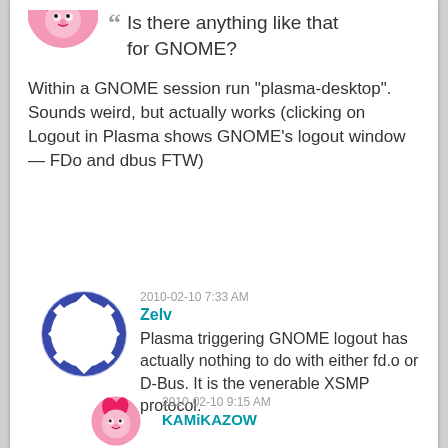[Figure (illustration): Circular avatar with pink cartoon pony (Pinkie Pie), partially visible at top]
Is there anything like that for GNOME?
Within a GNOME session run "plasma-desktop". Sounds weird, but actually works (clicking on Logout in Plasma shows GNOME's logout window — FDo and dbus FTW)
2010-02-10 7:33 AM
Zelv
[Figure (illustration): Circular avatar with blue diamond/geometric pattern border and white square center]
Plasma triggering GNOME logout has actually nothing to do with either fd.o or D-Bus. It is the venerable XSMP protocol.
2010-02-10 9:15 AM
KAMiKAZOW